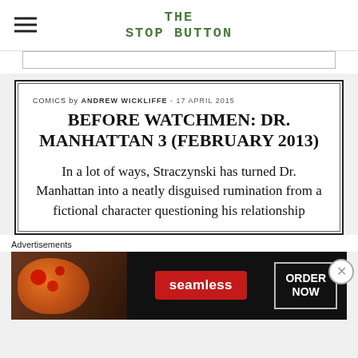THE STOP BUTTON
COMICS by ANDREW WICKLIFFE - 17 APRIL 2015
BEFORE WATCHMEN: DR. MANHATTAN 3 (FEBRUARY 2013)
In a lot of ways, Straczynski has turned Dr. Manhattan into a neatly disguised rumination from a fictional character questioning his relationship
Advertisements
[Figure (other): Seamless food delivery advertisement banner showing pizza and ORDER NOW button]